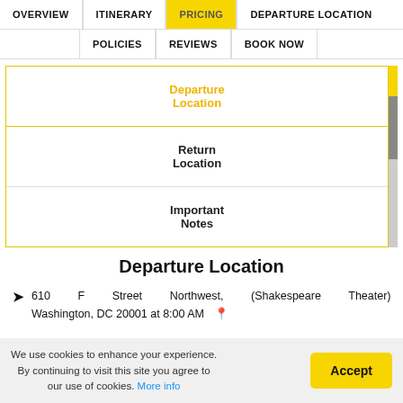OVERVIEW | ITINERARY | PRICING | DEPARTURE LOCATION | POLICIES | REVIEWS | BOOK NOW
| Departure Location |
| Return Location |
| Important Notes |
Departure Location
610 F Street Northwest, (Shakespeare Theater) Washington, DC 20001 at 8:00 AM
We use cookies to enhance your experience. By continuing to visit this site you agree to our use of cookies. More info